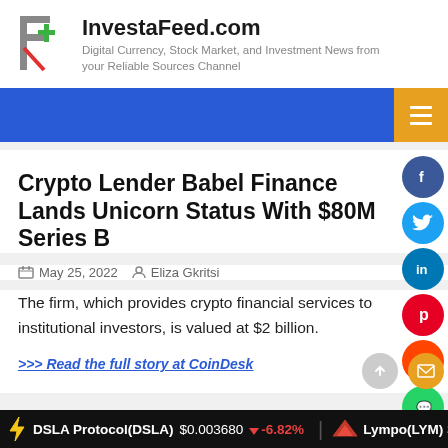InvestaFeed.com — Digital Currency, Stock Market, and Investment News from your Reliable Sources Channel
Crypto Lender Babel Finance Lands Unicorn Status With $80M Series B
May 25, 2022  Eliza Gkritsi
The firm, which provides crypto financial services to institutional investors, is valued at $2 billion.
>>> Read the full story at CoinDesk
DSLA Protocol(DSLA) $0.003680 ↓ -6.82%   Lympo(LYM) $